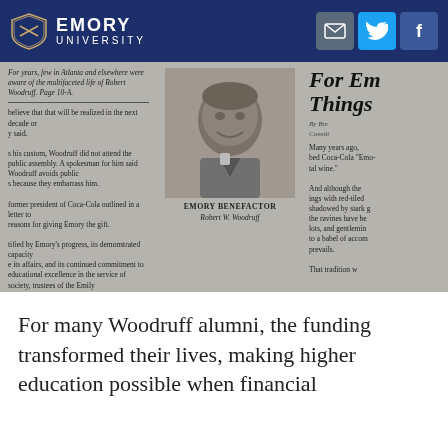[Figure (logo): Emory University logo with shield and text on dark blue navigation bar with social media icons (email, Twitter, Facebook)]
[Figure (photo): Scanned newspaper clipping showing a three-column layout with a photograph of Robert W. Woodruff labeled 'EMORY BENEFACTOR Robert W. Woodruff', text columns about Woodruff's gift to Emory University, and a partial headline reading 'For Em Things'. Left column mentions 'See GIFT, Page 11-A'.]
For many Woodruff alumni, the funding transformed their lives, making higher education possible when financial